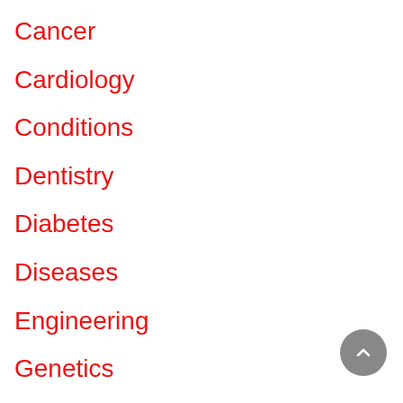Cancer
Cardiology
Conditions
Dentistry
Diabetes
Diseases
Engineering
Genetics
Gerontology & Geriatrics
Health
HIV & AIDS